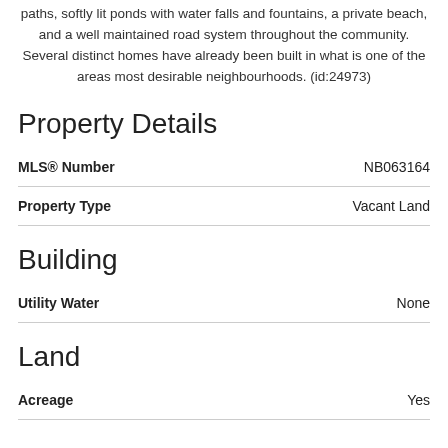paths, softly lit ponds with water falls and fountains, a private beach, and a well maintained road system throughout the community. Several distinct homes have already been built in what is one of the areas most desirable neighbourhoods. (id:24973)
Property Details
| Field | Value |
| --- | --- |
| MLS® Number | NB063164 |
| Property Type | Vacant Land |
Building
| Field | Value |
| --- | --- |
| Utility Water | None |
Land
| Field | Value |
| --- | --- |
| Acreage | Yes |